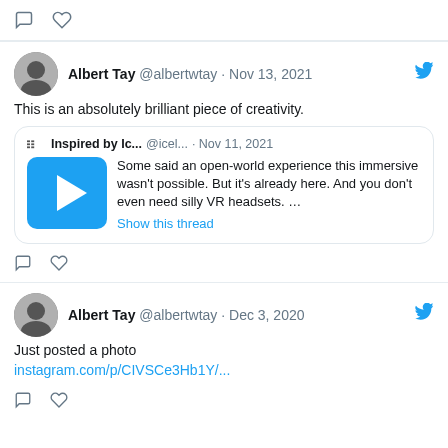[Figure (screenshot): Tweet action icons (comment and heart) at top of page]
Albert Tay @albertwtay · Nov 13, 2021
This is an absolutely brilliant piece of creativity.
Inspired by Ic... @icel... · Nov 11, 2021
Some said an open-world experience this immersive wasn't possible. But it's already here. And you don't even need silly VR headsets. …
Show this thread
Albert Tay @albertwtay · Dec 3, 2020
Just posted a photo
instagram.com/p/CIVSCe3Hb1Y/...